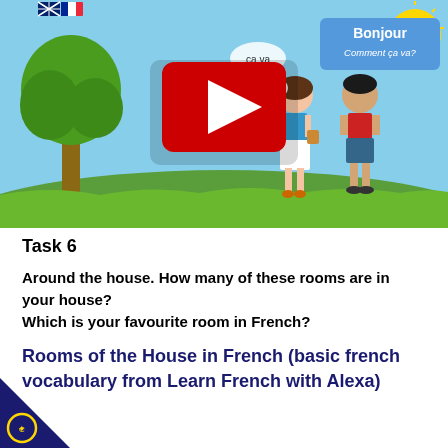[Figure (screenshot): YouTube video thumbnail showing two cartoon characters (a girl in blue top and white skirt, and a boy in red shirt and shorts) standing outdoors near a tree. Speech bubbles show 'ça va', 'Et toi ça va?' and a blue box reads 'Bonjour Comment ça va?'. A yellow smiley sun is in the top right. A large red YouTube play button overlay is in the center.]
Task 6
Around the house. How many of these rooms are in your house? Which is your favourite room in French?
Rooms of the House in French (basic french vocabulary from Learn French with Alexa)